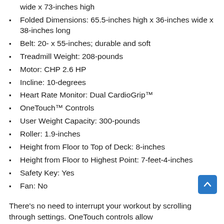wide x 73-inches high
Folded Dimensions: 65.5-inches high x 36-inches wide x 38-inches long
Belt: 20- x 55-inches; durable and soft
Treadmill Weight: 208-pounds
Motor: CHP 2.6 HP
Incline: 10-degrees
Heart Rate Monitor: Dual CardioGrip™
OneTouch™ Controls
User Weight Capacity: 300-pounds
Roller: 1.9-inches
Height from Floor to Top of Deck: 8-inches
Height from Floor to Highest Point: 7-feet-4-inches
Safety Key: Yes
Fan: No
There's no need to interrupt your workout by scrolling through settings. OneTouch controls allow